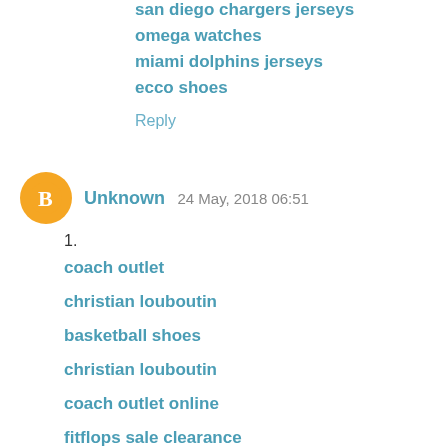san diego chargers jerseys
omega watches
miami dolphins jerseys
ecco shoes
Reply
Unknown  24 May, 2018 06:51
1.
coach outlet
christian louboutin
basketball shoes
christian louboutin
coach outlet online
fitflops sale clearance
nike outlet store